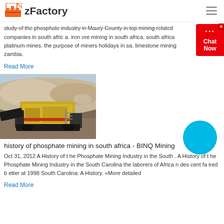zFactory
study of the phosphate industry in Maury County in top mining related companies in south afric a. iron ore mining in south africa. south africa platinum mines. the purpose of miners holidays in sa. limestone mining zambia.
Read More
[Figure (photo): Aerial/ground view of a large yellow mining/crushing machine at a quarry site with rocky terrain and dust]
history of phosphate mining in south africa - BINQ Mining
Oct 31, 2012  A History of t he Phosphate Mining Industry in the South . A History of t he Phosphate Mining Industry in the South Carolina the laborers of Africa n des cent fa ired b etter at 1998 South Carolina: A History. »More detailed
Read More